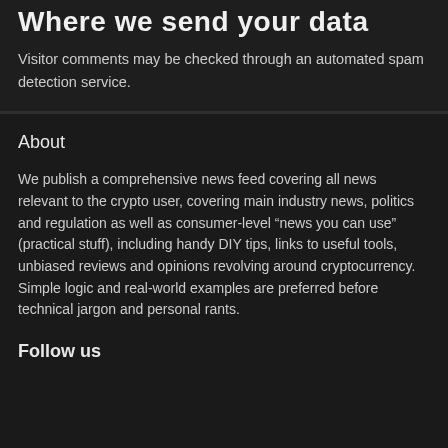Where we send your data
Visitor comments may be checked through an automated spam detection service.
About
We publish a comprehensive news feed covering all news relevant to the crypto user, covering main industry news, politics and regulation as well as consumer-level “news you can use” (practical stuff), including handy DIY tips, links to useful tools, unbiased reviews and opinions revolving around cryptocurrency. Simple logic and real-world examples are preferred before technical jargon and personal rants.
Follow us